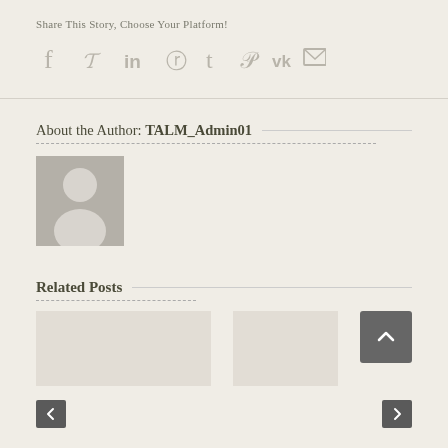Share This Story, Choose Your Platform!
[Figure (infographic): Social sharing icons: Facebook, Twitter, LinkedIn, Reddit, Tumblr, Pinterest, VK, Email]
About the Author: TALM_Admin01
[Figure (photo): Default grey avatar/profile placeholder image]
Related Posts
[Figure (infographic): Two related post thumbnail cards side by side, with a scroll-to-top button and previous/next navigation arrows]